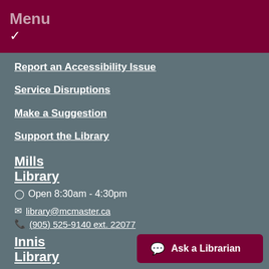Menu
Report an Accessibility Issue
Service Disruptions
Make a Suggestion
Support the Library
Mills Library
Open 8:30am - 4:30pm
library@mcmaster.ca
(905) 525-9140 ext. 22077
Innis Library
Closed Closed for Construction
Ask a Librarian